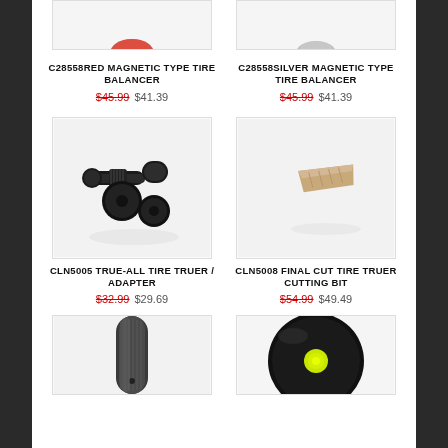[Figure (photo): Partial top of red magnetic type tire balancer product image]
[Figure (photo): Partial top of silver magnetic type tire balancer product image]
C28558RED MAGNETIC TYPE TIRE BALANCER
$45.99 $41.39
C28558SILVER MAGNETIC TYPE TIRE BALANCER
$45.99 $41.39
[Figure (photo): CLN5005 True-All Tire Truer / Adapter - black metal tool with knurled grips]
[Figure (photo): CLN5008 Final Cut Tire Truer Cutting Bit - small tan/beige cutting insert]
CLN5005 TRUE-ALL TIRE TRUER / ADAPTER
$32.99 $29.69
CLN5008 FINAL CUT TIRE TRUER CUTTING BIT
$54.99 $49.49
[Figure (photo): Partial bottom product image - appears to be a cylindrical metal tool]
[Figure (photo): Partial bottom product image - black circular disc with yellow/green center dot]